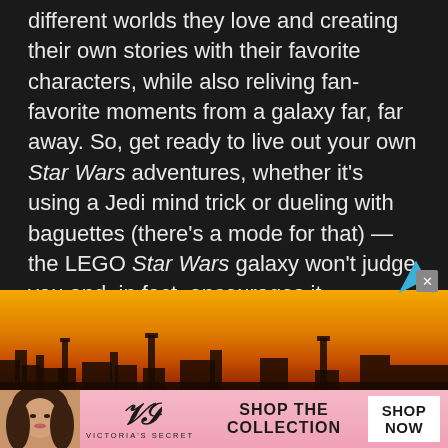Players will have so much fun exploring the different worlds they love and creating their own stories with their favorite characters, while also reliving fan-favorite moments from a galaxy far, far away. So, get ready to live out your own Star Wars adventures, whether it's using a Jedi mind trick or dueling with baguettes (there's a mode for that) — the LEGO Star Wars galaxy won't judge you and, in fact, encourages it.
[Figure (photo): Advertisement banner showing a golden/orange sunset skyline silhouette scene]
[Figure (photo): Victoria's Secret advertisement banner with model, VS logo, 'SHOP THE COLLECTION' text, and 'SHOP NOW' button]